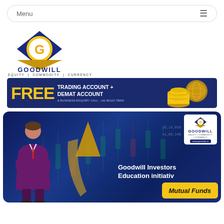Menu ≡
[Figure (logo): Goodwill logo — blue diamond with gold G letter above gold triangle and decorative banner, text GOODWILL, EQUITY | COMMODITY | CURRENCY]
[Figure (infographic): Dark blue banner ad: FREE TRADING ACCOUNT + DEMAT ACCOUNT & BUSINESS ENQUIRY CALL: +91 80122 78000, with globe and gold coins image on right]
[Figure (infographic): Dark blue promotional image with a businessperson illustration, large gold arrow pointing upward, Goodwill mini logo in white box top right, text: Goodwill Investors Education initiative, yellow button: Mutual Funds, stock chart background]